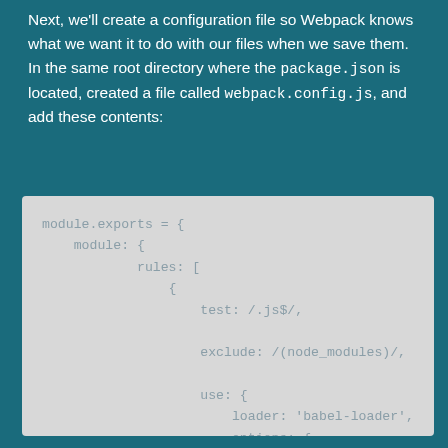Next, we'll create a configuration file so Webpack knows what we want it to do with our files when we save them. In the same root directory where the package.json is located, created a file called webpack.config.js, and add these contents:
module.exports = {
    module: {
        rules: [
            {
                test: /.js$/,
                exclude: /(node_modules)/,
                use: {
                    loader: 'babel-loader',
                    options: {
                        presets: ["@babel/env"]
                        plugins: ["transform-c]
                    }
                }